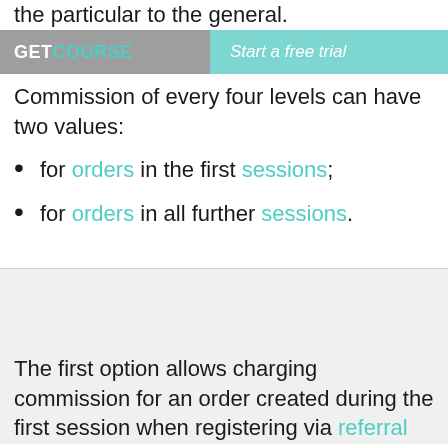the particular to the general.
GETCOURSE   Start a free trial
Commission of every four levels can have two values:
for orders in the first sessions;
for orders in all further sessions.
The first option allows charging commission for an order created during the first session when registering via referral link happened. The second option